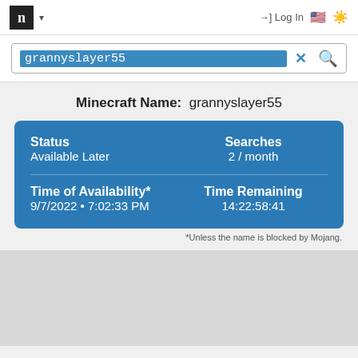n ▾  →] Log In 🇺🇸 ☀
grannyslayer55
Minecraft Name: grannyslayer55
| Status | Searches |
| --- | --- |
| Available Later | 2 / month |
| Time of Availability* | Time Remaining |
| 9/7/2022 • 7:02:33 PM | 14:22:58:41 |
*Unless the name is blocked by Mojang.